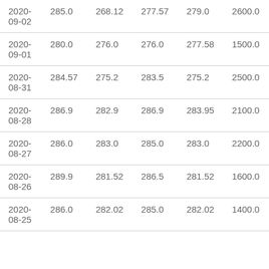| 2020-09-02 | 285.0 | 268.12 | 277.57 | 279.0 | 2600.0 |
| 2020-09-01 | 280.0 | 276.0 | 276.0 | 277.58 | 1500.0 |
| 2020-08-31 | 284.57 | 275.2 | 283.5 | 275.2 | 2500.0 |
| 2020-08-28 | 286.9 | 282.9 | 286.9 | 283.95 | 2100.0 |
| 2020-08-27 | 286.0 | 283.0 | 285.0 | 283.0 | 2200.0 |
| 2020-08-26 | 289.9 | 281.52 | 286.5 | 281.52 | 1600.0 |
| 2020-08-25 | 286.0 | 282.02 | 285.0 | 282.02 | 1400.0 |